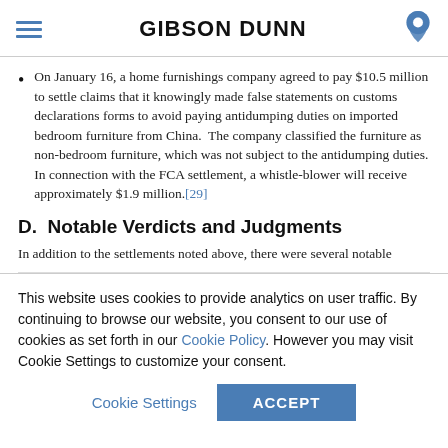GIBSON DUNN
On January 16, a home furnishings company agreed to pay $10.5 million to settle claims that it knowingly made false statements on customs declarations forms to avoid paying antidumping duties on imported bedroom furniture from China. The company classified the furniture as non-bedroom furniture, which was not subject to the antidumping duties. In connection with the FCA settlement, a whistle-blower will receive approximately $1.9 million.[29]
D.  Notable Verdicts and Judgments
In addition to the settlements noted above, there were several notable
This website uses cookies to provide analytics on user traffic. By continuing to browse our website, you consent to our use of cookies as set forth in our Cookie Policy. However you may visit Cookie Settings to customize your consent.
Cookie Settings   ACCEPT